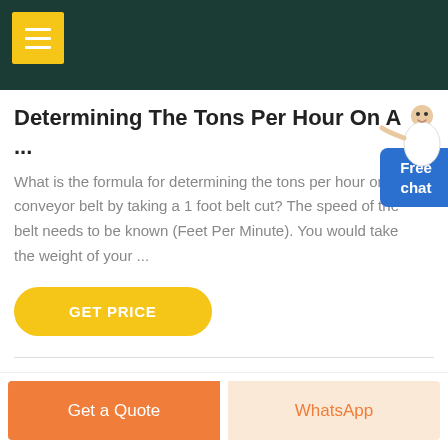Determining The Tons Per Hour On A ...
What is the formula for determining the tons per hour on a conveyor belt by taking a 1 foot belt cut? The speed of the belt needs to be known (Feet Per Minute). You would take the weight of your ...
[Figure (other): Yellow GET PRICE button with rounded corners]
[Figure (other): Free chat widget with customer service representative illustration]
Get a Quote | WhatsApp